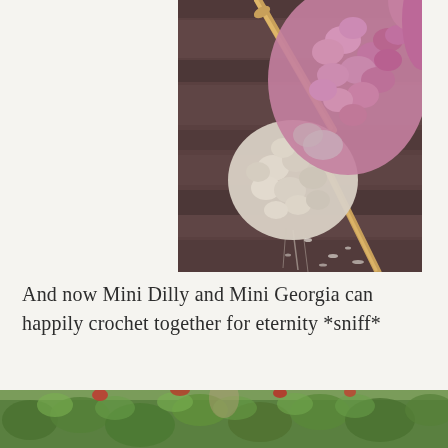[Figure (photo): Close-up photo of crochet work in progress on a wooden surface. A bamboo crochet hook is inserted into chunky yarn that transitions from natural cream/white at the base to pink/purple at the top. The background shows wooden planks.]
And now Mini Dilly and Mini Georgia can happily crochet together for eternity *sniff*
[Figure (photo): Partial photo of garden plants and foliage with green leaves and some red flowering plants visible.]